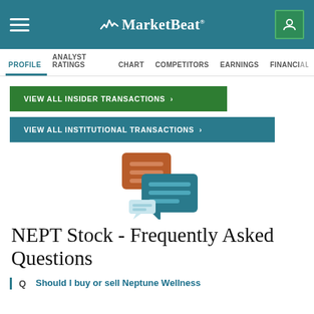MarketBeat
PROFILE | ANALYST RATINGS | CHART | COMPETITORS | EARNINGS | FINANCIALS
VIEW ALL INSIDER TRANSACTIONS >
VIEW ALL INSTITUTIONAL TRANSACTIONS >
[Figure (illustration): Two speech bubble icons overlapping — one brown/orange on top-left, one teal on bottom-right, representing FAQ or Q&A conversation]
NEPT Stock - Frequently Asked Questions
Q   Should I buy or sell Neptune Wellness